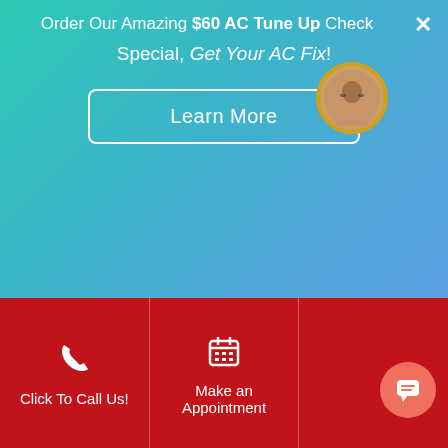Order Our Amazing $60 AC Tune Up Check Special, Get Your AC Fix!
Learn More
Sat – Sun 6am -3pm
24 Hours Emergency Service V.I.P Members
CALL US
(954) 658-9511
Save 20%
Click To Call Us!
Make an Appointment